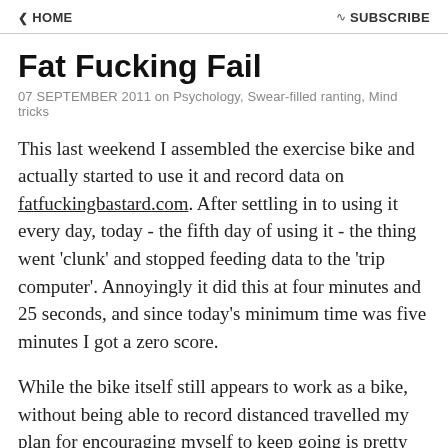HOME   SUBSCRIBE
Fat Fucking Fail
07 SEPTEMBER 2011 on Psychology, Swear-filled ranting, Mind tricks
This last weekend I assembled the exercise bike and actually started to use it and record data on fatfuckingbastard.com. After settling in to using it every day, today - the fifth day of using it - the thing went 'clunk' and stopped feeding data to the 'trip computer'. Annoyingly it did this at four minutes and 25 seconds, and since today's minimum time was five minutes I got a zero score.
While the bike itself still appears to work as a bike, without being able to record distanced travelled my plan for encouraging myself to keep going is pretty